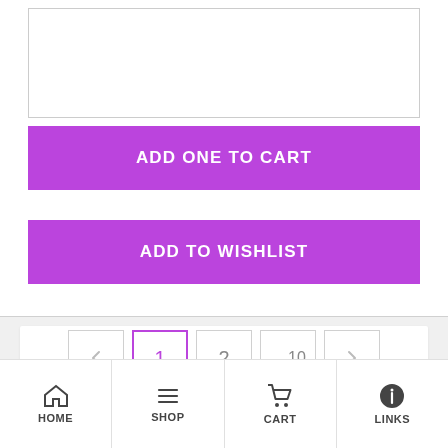[Figure (screenshot): Textarea input box with resize handle at bottom right, light gray border]
[Figure (screenshot): Purple 'ADD ONE TO CART' button]
[Figure (screenshot): Purple 'ADD TO WISHLIST' button]
[Figure (screenshot): Pagination bar with previous arrow, page 1 (active, purple border), page 2, ellipsis page 10, next arrow]
CONNECT WITH US
[Figure (screenshot): Bottom navigation bar with Home, Shop, Cart, Links tabs and icons]